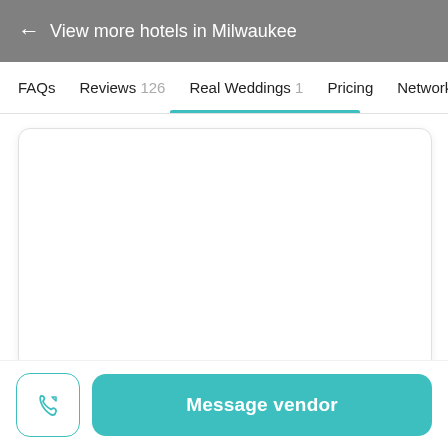← View more hotels in Milwaukee
FAQs   Reviews 126   Real Weddings 1   Pricing   Network
[Figure (other): Empty white card with rounded corners and light border/shadow]
Message vendor